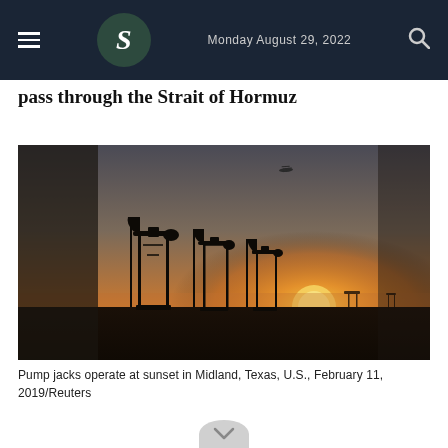Monday August 29, 2022
pass through the Strait of Hormuz
[Figure (photo): Oil pump jacks silhouetted against a sunset sky in Midland, Texas. Multiple pump jacks are visible in the foreground against an orange and grey sky with the sun low on the horizon.]
Pump jacks operate at sunset in Midland, Texas, U.S., February 11, 2019/Reuters